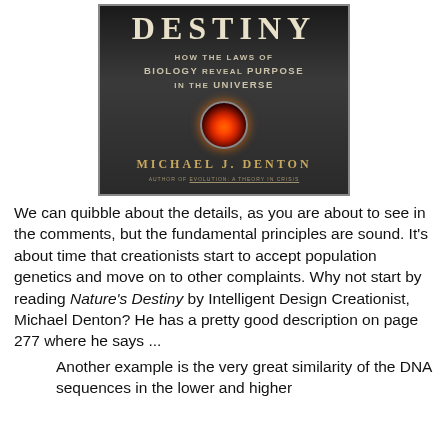[Figure (illustration): Book cover of 'Nature's Destiny: How the Laws of Biology Reveal Purpose in the Universe' by Michael J. Denton. Dark background with galaxy image in center. Author attribution reads 'Author of Evolution: A Theory in Crisis'.]
We can quibble about the details, as you are about to see in the comments, but the fundamental principles are sound. It's about time that creationists start to accept population genetics and move on to other complaints. Why not start by reading Nature's Destiny by Intelligent Design Creationist, Michael Denton? He has a pretty good description on page 277 where he says ...
Another example is the very great similarity of the DNA sequences in the lower and higher...